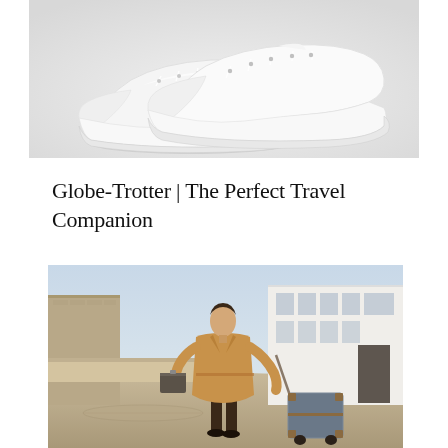[Figure (photo): White leather low-top sneakers on a light grey background, viewed from a slight angle showing the toe box and laces]
Globe-Trotter | The Perfect Travel Companion
[Figure (photo): A man in a camel-colored long coat walking outdoors in an urban setting, pulling a Globe-Trotter rolling suitcase and carrying a dark portfolio/briefcase]